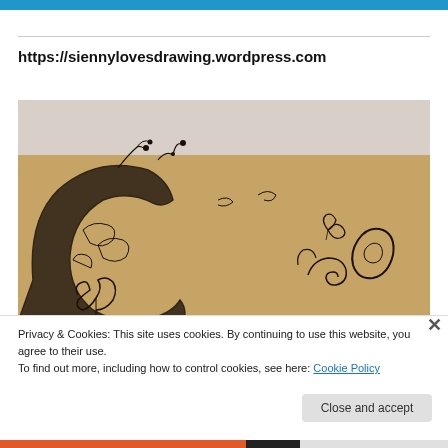https://siennylovesdrawing.wordpress.com
[Figure (photo): Close-up photo of decorative hand-drawn lettering on brown kraft paper, showing ornate illustrated letters with swirling floral and scroll patterns in black ink.]
Privacy & Cookies: This site uses cookies. By continuing to use this website, you agree to their use.
To find out more, including how to control cookies, see here: Cookie Policy
Close and accept